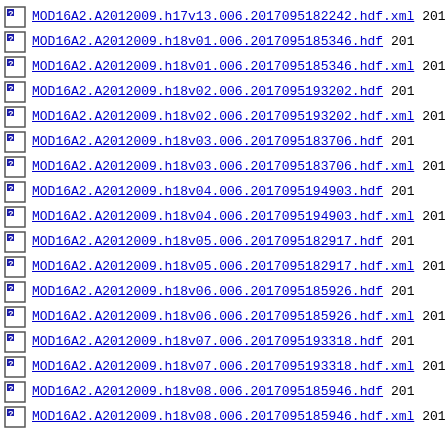MOD16A2.A2012009.h17v13.006.2017095182242.hdf.xml 201
MOD16A2.A2012009.h18v01.006.2017095185346.hdf 201
MOD16A2.A2012009.h18v01.006.2017095185346.hdf.xml 201
MOD16A2.A2012009.h18v02.006.2017095193202.hdf 201
MOD16A2.A2012009.h18v02.006.2017095193202.hdf.xml 201
MOD16A2.A2012009.h18v03.006.2017095183706.hdf 201
MOD16A2.A2012009.h18v03.006.2017095183706.hdf.xml 201
MOD16A2.A2012009.h18v04.006.2017095194903.hdf 201
MOD16A2.A2012009.h18v04.006.2017095194903.hdf.xml 201
MOD16A2.A2012009.h18v05.006.2017095182917.hdf 201
MOD16A2.A2012009.h18v05.006.2017095182917.hdf.xml 201
MOD16A2.A2012009.h18v06.006.2017095185926.hdf 201
MOD16A2.A2012009.h18v06.006.2017095185926.hdf.xml 201
MOD16A2.A2012009.h18v07.006.2017095193318.hdf 201
MOD16A2.A2012009.h18v07.006.2017095193318.hdf.xml 201
MOD16A2.A2012009.h18v08.006.2017095185946.hdf 201
MOD16A2.A2012009.h18v08.006.2017095185946.hdf.xml 201